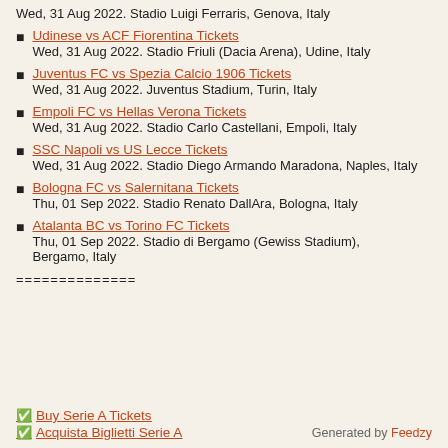Wed, 31 Aug 2022. Stadio Luigi Ferraris, Genova, Italy
Udinese vs ACF Fiorentina Tickets
Wed, 31 Aug 2022. Stadio Friuli (Dacia Arena), Udine, Italy
Juventus FC vs Spezia Calcio 1906 Tickets
Wed, 31 Aug 2022. Juventus Stadium, Turin, Italy
Empoli FC vs Hellas Verona Tickets
Wed, 31 Aug 2022. Stadio Carlo Castellani, Empoli, Italy
SSC Napoli vs US Lecce Tickets
Wed, 31 Aug 2022. Stadio Diego Armando Maradona, Naples, Italy
Bologna FC vs Salernitana Tickets
Thu, 01 Sep 2022. Stadio Renato DallAra, Bologna, Italy
Atalanta BC vs Torino FC Tickets
Thu, 01 Sep 2022. Stadio di Bergamo (Gewiss Stadium), Bergamo, Italy
==============
Buy Serie A Tickets
Acquista Biglietti Serie A
Generated by Feedzy